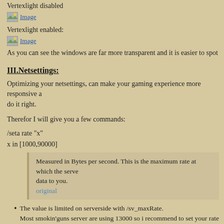Vertexlight disabled
[Figure (illustration): Image placeholder icon with text 'Image']
Vertexlight enabled:
[Figure (illustration): Image placeholder icon with text 'Image']
As you can see the windows are far more transparent and it is easier to spot your o
III.Netsettings:
Optimizing your netsettings, can make your gaming experience more responsive a do it right.
Therefor I will give you a few commands:
/seta rate "x"
x in [1000,90000]
Measured in Bytes per second. This is the maximum rate at which the serve data to you.
original
The value is limited on serverside with /sv_maxRate.
Most smokin'guns server are using 13000 so i recommend to set your rate